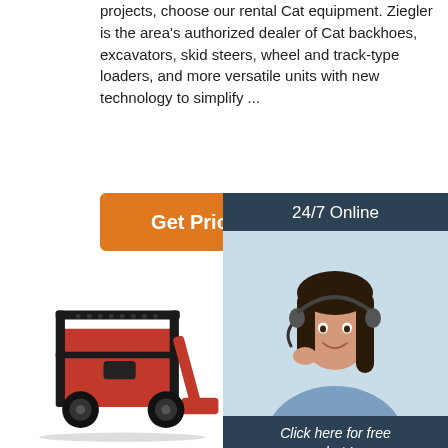projects, choose our rental Cat equipment. Ziegler is the area's authorized dealer of Cat backhoes, excavators, skid steers, wheel and track-type loaders, and more versatile units with new technology to simplify ...
[Figure (other): Orange 'Get Price' button]
[Figure (other): Dark blue sidebar ad panel with '24/7 Online' header, smiling female customer service representative wearing headset, 'Click here for free chat!' text, and orange QUOTATION button]
[Figure (photo): Red and black skid steer loader / compact construction equipment photographed from the front-left angle, partially cropped at bottom of page]